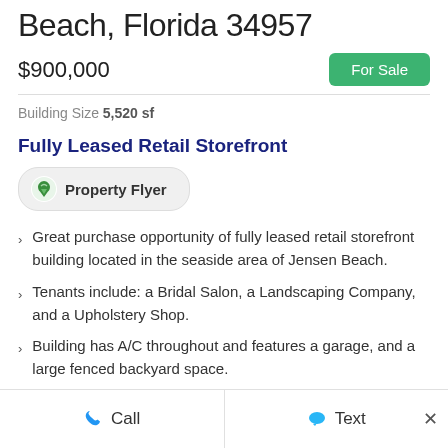Beach, Florida 34957
$900,000
For Sale
Building Size 5,520 sf
Fully Leased Retail Storefront
[Figure (other): Property Flyer download button with green download icon]
Great purchase opportunity of fully leased retail storefront building located in the seaside area of Jensen Beach.
Tenants include: a Bridal Salon, a Landscaping Company, and a Upholstery Shop.
Building has A/C throughout and features a garage, and a large fenced backyard space.
Call   Text